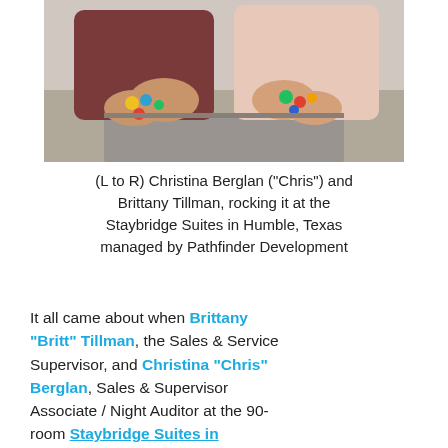[Figure (photo): Two women leaning over a surface and holding out colorful painted rocks in their hands. One woman wears a dark maroon top, the other a light pink top.]
(L to R) Christina Berglan ("Chris") and Brittany Tillman, rocking it at the Staybridge Suites in Humble, Texas managed by Pathfinder Development
It all came about when Brittany "Britt" Tillman, the Sales & Service Supervisor, and Christina "Chris" Berglan, Sales & Supervisor Associate / Night Auditor at the 90-room Staybridge Suites in Humble, Texas stumbled upon